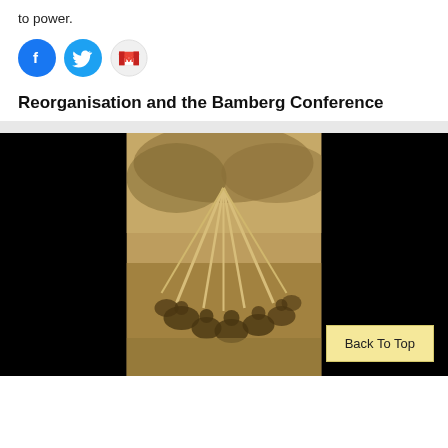to power.
[Figure (other): Social media sharing icons: Facebook (blue circle with f), Twitter (blue circle with bird), Gmail (white circle with red M envelope)]
Reorganisation and the Bamberg Conference
[Figure (photo): Sepia-toned historical photograph showing a group of people sitting outdoors around a tent or tipi structure made of poles, with trees in the background. The image is centered on a black background.]
Back To Top